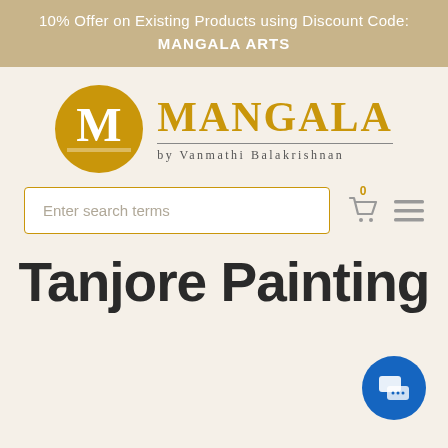10% Offer on Existing Products using Discount Code: MANGALA ARTS
[Figure (logo): Mangala by Vanmathi Balakrishnan logo with golden M circle and text]
Enter search terms
Tanjore Painting